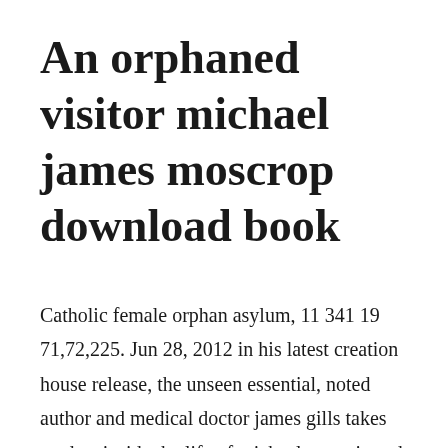An orphaned visitor michael james moscrop download book
Catholic female orphan asylum, 11 341 19 71,72,225. Jun 28, 2012 in his latest creation house release, the unseen essential, noted author and medical doctor james gills takes readers inside the life of michael nastasis and